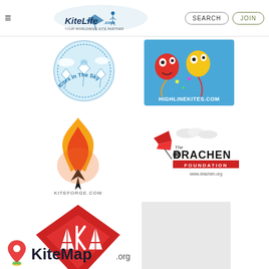KiteLife.com — Your Worldwide Kite Partner | SEARCH | JOIN
[Figure (logo): Kites In The Sky logo — circular blue badge with kites and text 'Kite Kits For Everyone www.kitesite.com']
[Figure (logo): HighlineKites.com logo — colorful cartoon kite characters on blue background]
[Figure (logo): KiteForge.com logo — flame with dark kite shape]
[Figure (logo): The Drachen Foundation logo — kite design with text 'The Drachen Foundation www.drachen.org']
[Figure (logo): AKA logo — red diamond/shield shape with AKA letters]
[Figure (logo): Blank/placeholder gray box]
[Figure (logo): KiteMap.org logo — map pin icon with KiteMap text]